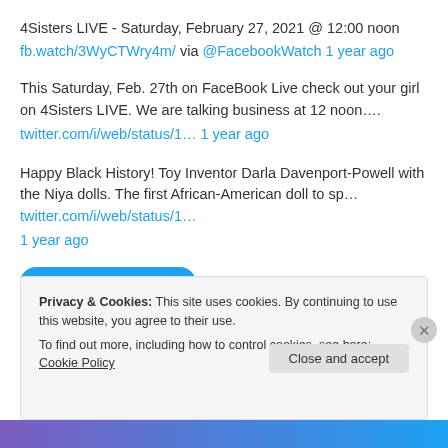4Sisters LIVE - Saturday, February 27, 2021 @ 12:00 noon
fb.watch/3WyCTWry4m/ via @FacebookWatch 1 year ago
This Saturday, Feb. 27th on FaceBook Live check out your girl on 4Sisters LIVE. We are talking business at 12 noon….
twitter.com/i/web/status/1… 1 year ago
Happy Black History! Toy Inventor Darla Davenport-Powell with the Niya dolls. The first African-American doll to sp… twitter.com/i/web/status/1… 1 year ago
Follow @niyakids
Privacy & Cookies: This site uses cookies. By continuing to use this website, you agree to their use. To find out more, including how to control cookies, see here: Cookie Policy
Close and accept